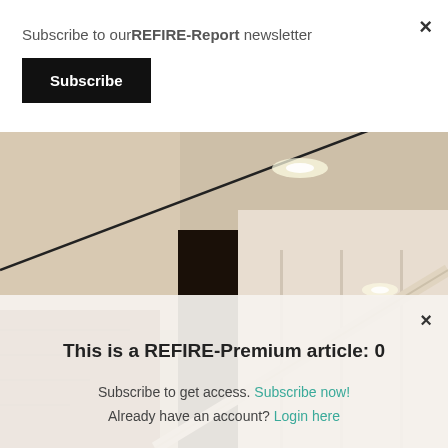Subscribe to ourREFIRE-Report newsletter
Subscribe
[Figure (photo): Interior architectural photo showing a modern staircase with wood steps, white walls, and recessed ceiling lights in a residential or commercial building.]
This is a REFIRE-Premium article: 0
Subscribe to get access. Subscribe now!
Already have an account? Login here